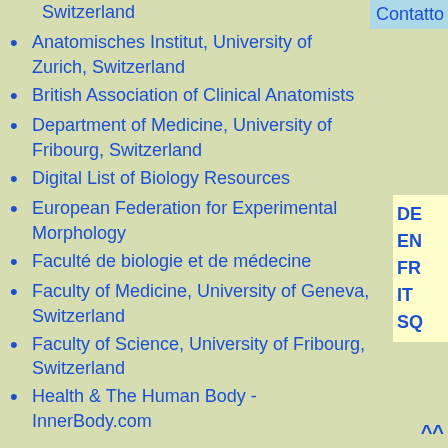Switzerland
Anatomisches Institut, University of Zurich, Switzerland
British Association of Clinical Anatomists
Department of Medicine, University of Fribourg, Switzerland
Digital List of Biology Resources
European Federation for Experimental Morphology
Faculté de biologie et de médecine
Faculty of Medicine, University of Geneva, Switzerland
Faculty of Science, University of Fribourg, Switzerland
Health & The Human Body - InnerBody.com